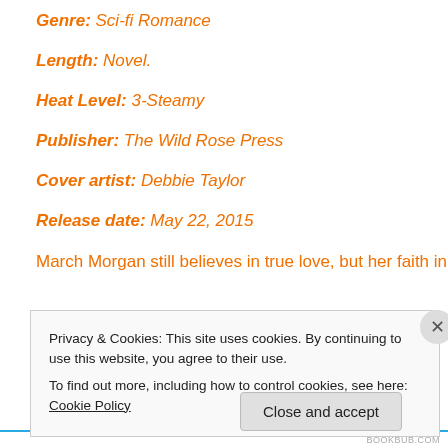Genre: Sci-fi Romance
Length: Novel.
Heat Level: 3-Steamy
Publisher: The Wild Rose Press
Cover artist: Debbie Taylor
Release date: May 22, 2015
March Morgan still believes in true love, but her faith in
Privacy & Cookies: This site uses cookies. By continuing to use this website, you agree to their use. To find out more, including how to control cookies, see here: Cookie Policy